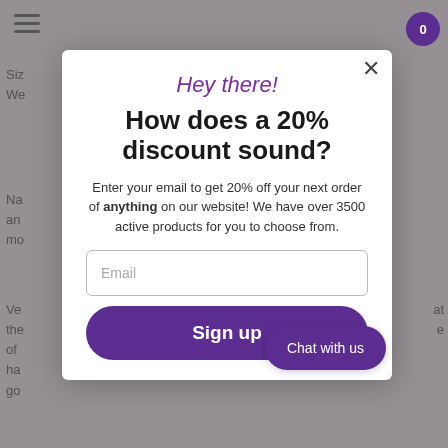[Figure (screenshot): Website background showing navigation hamburger icon, cart icon with 0, and partially visible product page text (Size, We, Na, an, mo, Ve, the, of, ha, go)]
Hey there!
How does a 20% discount sound?
Enter your email to get 20% off your next order of anything on our website! We have over 3500 active products for you to choose from.
Email
Sign up
Chat with us